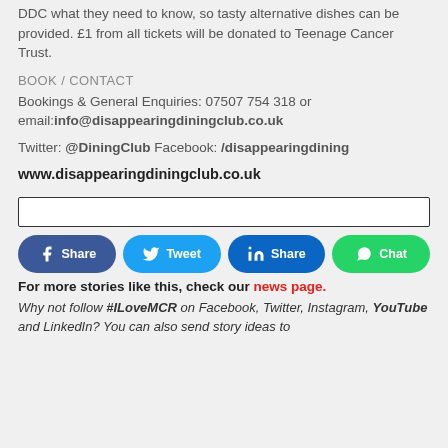DDC what they need to know, so tasty alternative dishes can be provided. £1 from all tickets will be donated to Teenage Cancer Trust.
BOOK / CONTACT
Bookings & General Enquiries: 07507 754 318 or email:info@disappearingdiningclub.co.uk
Twitter: @DiningClub Facebook: /disappearingdining
www.disappearingdiningclub.co.uk
[Figure (other): Empty search/input box]
[Figure (infographic): Social share buttons row: Facebook Share, Twitter Tweet, LinkedIn Share, WhatsApp Chat]
For more stories like this, check our news page.
Why not follow #ILoveMCR on Facebook, Twitter, Instagram, YouTube and LinkedIn? You can also send story ideas to